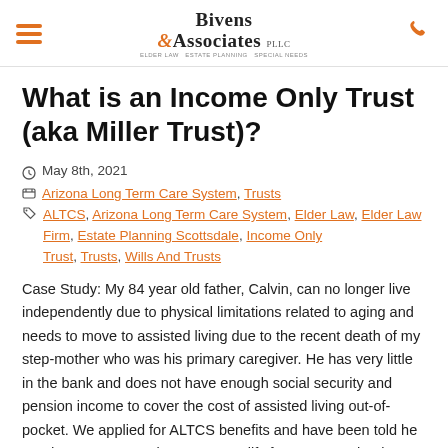Bivens & Associates PLLC — Elder Law, Estate Planning, Special Needs
What is an Income Only Trust (aka Miller Trust)?
May 8th, 2021
Arizona Long Term Care System, Trusts ALTCS, Arizona Long Term Care System, Elder Law, Elder Law Firm, Estate Planning Scottsdale, Income Only Trust, Trusts, Wills And Trusts
Case Study: My 84 year old father, Calvin, can no longer live independently due to physical limitations related to aging and needs to move to assisted living due to the recent death of my step-mother who was his primary caregiver. He has very little in the bank and does not have enough social security and pension income to cover the cost of assisted living out-of-pocket. We applied for ALTCS benefits and have been told he needs an Income Only Trust to qualify for ALTCS. What is an Income Only Trust?